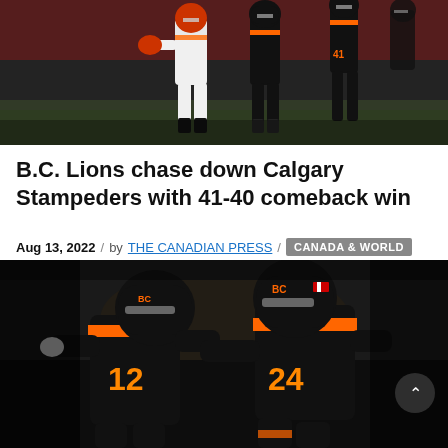[Figure (photo): Football players on field, Calgary Stampeders vs BC Lions game, players in white and black uniforms visible, stadium crowd in background]
B.C. Lions chase down Calgary Stampeders with 41-40 comeback win
Aug 13, 2022 / by THE CANADIAN PRESS / CANADA & WORLD SPORTS
[Figure (photo): Two BC Lions players in black and orange uniforms celebrating, jersey numbers 12 and 24 visible, helmets with BC Lions logo]